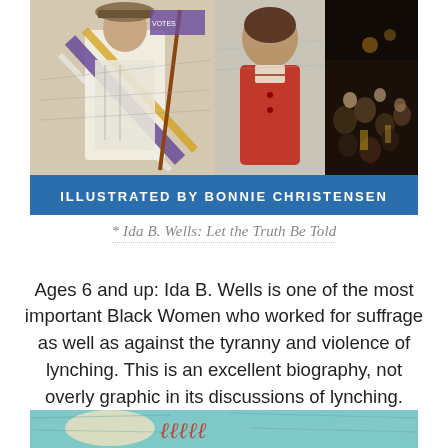[Figure (illustration): Book cover illustration showing women in suffrage march with purple and gold sashes, a child in red coat, and crowd scenes. Blue banner at bottom reads 'ILLUSTRATED BY BONNIE CHRISTENSEN'.]
* Ida B. Wells: Let the Truth Be Told
Ages 6 and up: Ida B. Wells is one of the most important Black Women who worked for suffrage as well as against the tyranny and violence of lynching. This is an excellent biography, not overly graphic in its discussions of lynching.
[Figure (illustration): Partial view of another book cover with teal/aqua background and red script text, partially visible at bottom of page.]